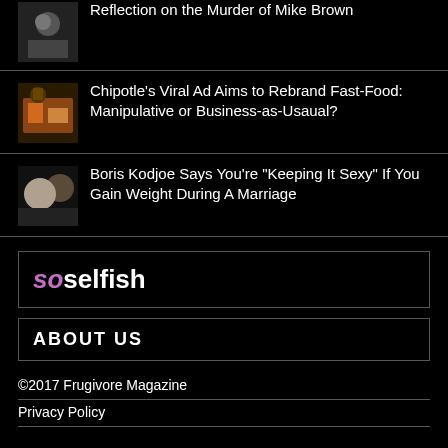Reflection on the Murder of Mike Brown
Chipotle’s Viral Ad Aims to Rebrand Fast-Food: Manipulative or Business-as-Usaual?
Boris Kodjoe Says You’re Not “Keeping It Sexy” If You Gain Weight During A Marriage
[Figure (logo): soselfish logo in purple and white stylized text]
ABOUT US
©2017 Frugivore Magazine
Privacy Policy